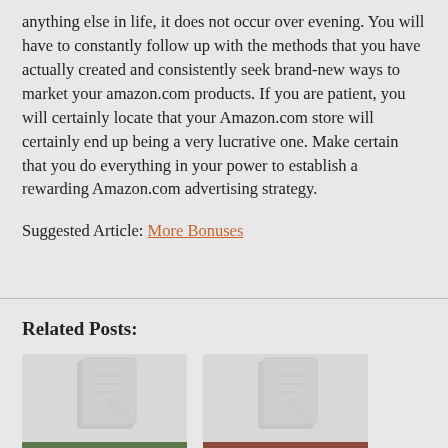anything else in life, it does not occur over evening. You will have to constantly follow up with the methods that you have actually created and consistently seek brand-new ways to market your amazon.com products. If you are patient, you will certainly locate that your Amazon.com store will certainly end up being a very lucrative one. Make certain that you do everything in your power to establish a rewarding Amazon.com advertising strategy.
Suggested Article: More Bonuses
Related Posts:
[Figure (illustration): Placeholder document/notepad icon on light gray background with green caption bar reading 'If You Read One']
[Figure (illustration): Placeholder document/notepad icon on light gray background with brown/red caption bar reading 'If You Read One']